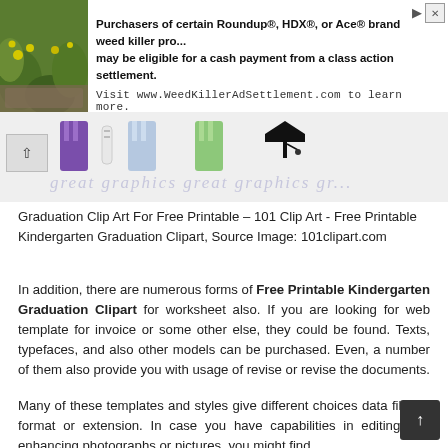[Figure (screenshot): Advertisement banner for Roundup/HDX/Ace weed killer class action settlement at WeedKillerAdSettlement.com, with a nature photo on the left showing green plants and yellow flowers.]
[Figure (illustration): A horizontal strip showing graduation clip art thumbnails including graduation gowns and caps in purple, light blue, green, and black. Navigation arrow button on left. Semi-transparent watermark text reading 'great graphics great graphics gr...' overlays the strip.]
Graduation Clip Art For Free Printable – 101 Clip Art - Free Printable Kindergarten Graduation Clipart, Source Image: 101clipart.com
In addition, there are numerous forms of Free Printable Kindergarten Graduation Clipart for worksheet also. If you are looking for web template for invoice or some other else, they could be found. Texts, typefaces, and also other models can be purchased. Even, a number of them also provide you with usage of revise or revise the documents.
Many of these templates and styles give different choices data file file format or extension. In case you have capabilities in editing and enhancing photographs or pictures, you might find